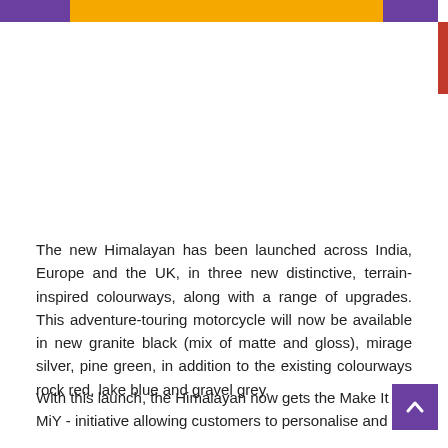The new Himalayan has been launched across India, Europe and the UK, in three new distinctive, terrain-inspired colourways, along with a range of upgrades. This adventure-touring motorcycle will now be available in new granite black (mix of matte and gloss), mirage silver, pine green, in addition to the existing colourways rock red, lake blue and gravel grey.
With this launch, the Himalayan now gets the Make It Yo MiY - initiative allowing customers to personalise and